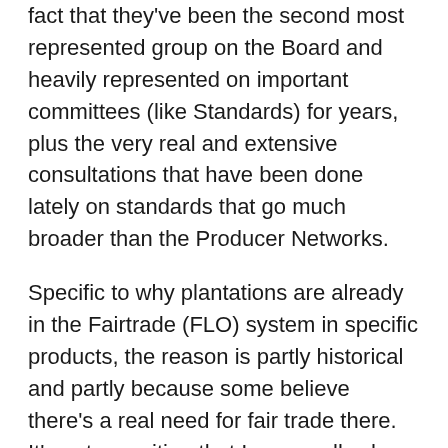fact that they've been the second most represented group on the Board and heavily represented on important committees (like Standards) for years, plus the very real and extensive consultations that have been done lately on standards that go much broader than the Producer Networks.
Specific to why plantations are already in the Fairtrade (FLO) system in specific products, the reason is partly historical and partly because some believe there's a real need for fair trade there. It's not a position that I personally share so I won't make the case for them here. However, worth noting is "producers" don't unanimously oppose plantations in fair trade (though the CLAC has been consistently against